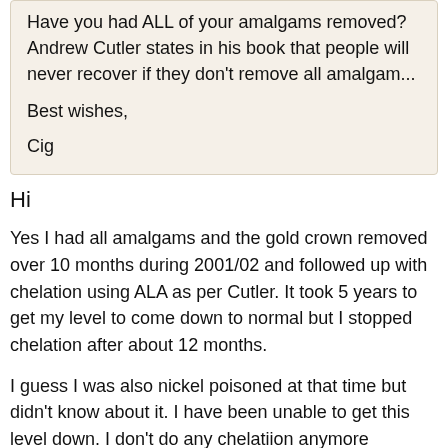Have you had ALL of your amalgams removed? Andrew Cutler states in his book that people will never recover if they don't remove all amalgam...
Best wishes,
Cig
Hi
Yes I had all amalgams and the gold crown removed over 10 months during 2001/02 and followed up with chelation using ALA as per Cutler. It took 5 years to get my level to come down to normal but I stopped chelation after about 12 months.
I guess I was also nickel poisoned at that time but didn't know about it. I have been unable to get this level down. I don't do any chelatiion anymore because it always made me feel very ill with horrendous migraines.
I have to say that having the amalgams removed didn't make